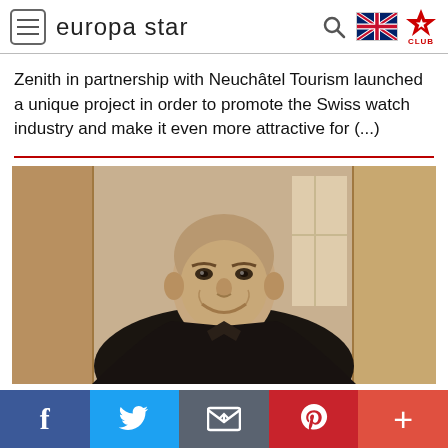europa star
Zenith in partnership with Neuchâtel Tourism launched a unique project in order to promote the Swiss watch industry and make it even more attractive for (...)
[Figure (photo): Portrait photo of a smiling bald man in a dark suit and tie, seated, with a warm indoor background]
Social share bar: Facebook, Twitter, Email, Pinterest, More